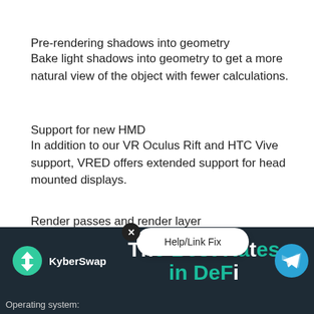Pre-rendering shadows into geometry
Bake light shadows into geometry to get a more natural view of the object with fewer calculations.
Support for new HMD
In addition to our VR Oculus Rift and HTC Vive support, VRED offers extended support for head mounted displays.
Render passes and render layer
For additional post-processing export your render
[Figure (screenshot): KyberSwap advertisement banner with logo, 'The Best Rates in DeFi' text, a Help/Link Fix popup bubble, close button, and Telegram icon]
Operating system: